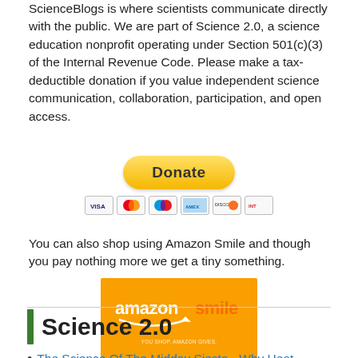ScienceBlogs is where scientists communicate directly with the public. We are part of Science 2.0, a science education nonprofit operating under Section 501(c)(3) of the Internal Revenue Code. Please make a tax-deductible donation if you value independent science communication, collaboration, participation, and open access.
[Figure (screenshot): PayPal Donate button (yellow rounded rectangle with 'Donate' text) and a row of payment card logos (Visa, Mastercard, Maestro, Amex, Discover, Interac)]
You can also shop using Amazon Smile and though you pay nothing more we get a tiny something.
[Figure (logo): Amazon Smile logo on orange background]
Science 2.0
The Science Of The Midday Siesta - Why Heat Makes Us Sl...